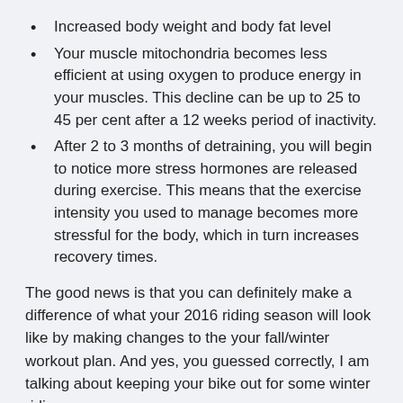Increased body weight and body fat level
Your muscle mitochondria becomes less efficient at using oxygen to produce energy in your muscles. This decline can be up to 25 to 45 per cent after a 12 weeks period of inactivity.
After 2 to 3 months of detraining, you will begin to notice more stress hormones are released during exercise. This means that the exercise intensity you used to manage becomes more stressful for the body, which in turn increases recovery times.
The good news is that you can definitely make a difference of what your 2016 riding season will look like by making changes to the your fall/winter workout plan. And yes, you guessed correctly, I am talking about keeping your bike out for some winter riding.
It is simple really. Researches and studies have proved it: To